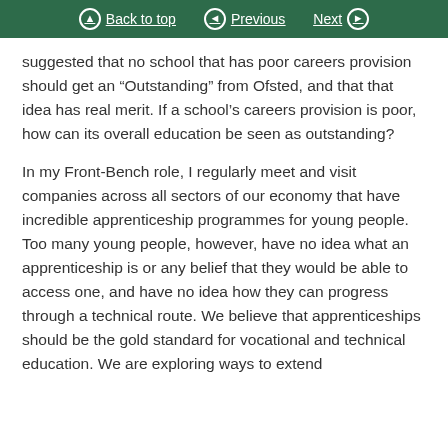Back to top | Previous | Next
suggested that no school that has poor careers provision should get an “Outstanding” from Ofsted, and that that idea has real merit. If a school’s careers provision is poor, how can its overall education be seen as outstanding?
In my Front-Bench role, I regularly meet and visit companies across all sectors of our economy that have incredible apprenticeship programmes for young people. Too many young people, however, have no idea what an apprenticeship is or any belief that they would be able to access one, and have no idea how they can progress through a technical route. We believe that apprenticeships should be the gold standard for vocational and technical education. We are exploring ways to extend